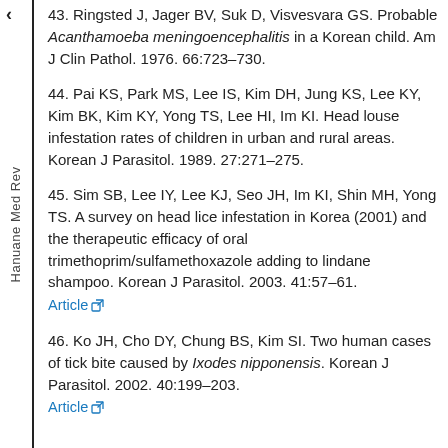43. Ringsted J, Jager BV, Suk D, Visvesvara GS. Probable Acanthamoeba meningoencephalitis in a Korean child. Am J Clin Pathol. 1976. 66:723–730.
44. Pai KS, Park MS, Lee IS, Kim DH, Jung KS, Lee KY, Kim BK, Kim KY, Yong TS, Lee HI, Im KI. Head louse infestation rates of children in urban and rural areas. Korean J Parasitol. 1989. 27:271–275.
45. Sim SB, Lee IY, Lee KJ, Seo JH, Im KI, Shin MH, Yong TS. A survey on head lice infestation in Korea (2001) and the therapeutic efficacy of oral trimethoprim/sulfamethoxazole adding to lindane shampoo. Korean J Parasitol. 2003. 41:57–61. Article
46. Ko JH, Cho DY, Chung BS, Kim SI. Two human cases of tick bite caused by Ixodes nipponensis. Korean J Parasitol. 2002. 40:199–203. Article